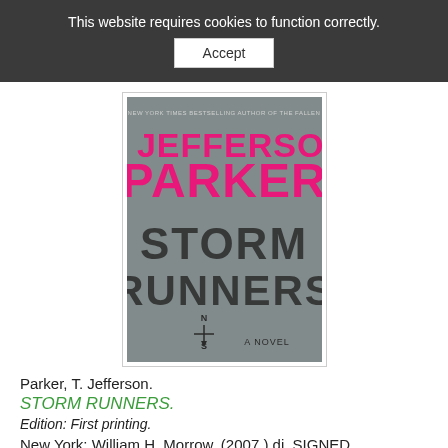This website requires cookies to function correctly. Accept
[Figure (photo): Book cover of Storm Runners by T. Jefferson Parker. The cover shows the author name in large pink letters 'T. JEFFERSON PARKER' and below it 'STORM RUNNERS' in large dark letters, with a compass rose and 'A NOVEL' text. Background is grey/stormy.]
Parker, T. Jefferson.
STORM RUNNERS.
Edition: First printing.
New York: William H. Morrow, (2007.) dj. SIGNED